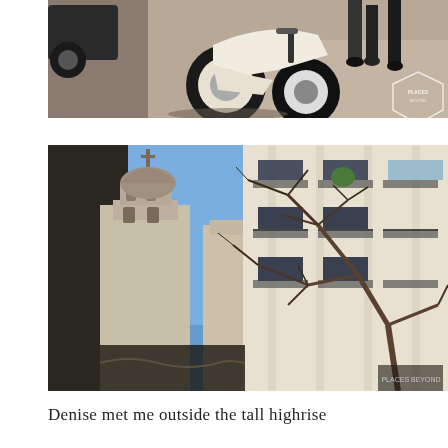[Figure (photo): Close-up street scene showing a white vintage Vespa scooter parked on cobblestone street, with a car tire visible on the left and people's legs in background. A 'Places Beyond' watermark badge visible in lower right corner.]
[Figure (photo): Urban street scene in Buenos Aires showing a European-style white building with ornate iron balconies, a church tower with baroque dome in the background on the left, bare winter tree branches in the foreground right, and blue sky.]
Denise met me outside the tall highrise